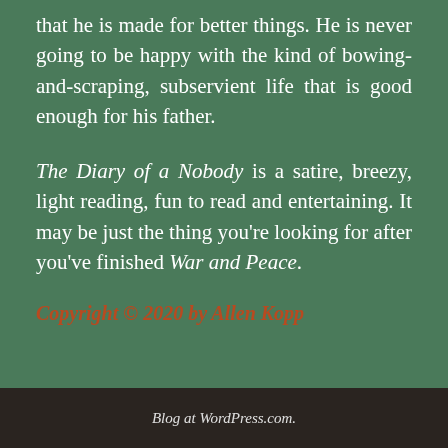that he is made for better things. He is never going to be happy with the kind of bowing-and-scraping, subservient life that is good enough for his father.
The Diary of a Nobody is a satire, breezy, light reading, fun to read and entertaining. It may be just the thing you’re looking for after you’ve finished War and Peace.
Copyright © 2020 by Allen Kopp
Blog at WordPress.com.